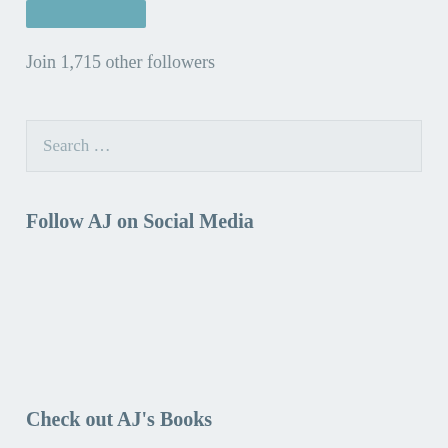[Figure (other): Teal/blue rectangular button element at top]
Join 1,715 other followers
Search ...
Follow AJ on Social Media
Check out AJ's Books